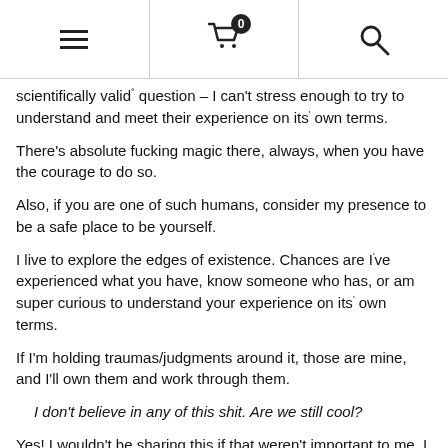Navigation bar with hamburger menu, cart (0 items), and search icon
scientifically valid° question – I can't stress enough to try to understand and meet their experience on its' own terms.
There's absolute fucking magic there, always, when you have the courage to do so.
Also, if you are one of such humans, consider my presence to be a safe place to be yourself.
I live to explore the edges of existence. Chances are I've experienced what you have, know someone who has, or am super curious to understand your experience on its' own terms.
If I'm holding traumas/judgments around it, those are mine, and I'll own them and work through them.
I don't believe in any of this shit. Are we still cool?
Yes! I wouldn't be sharing this if that weren't important to me. I